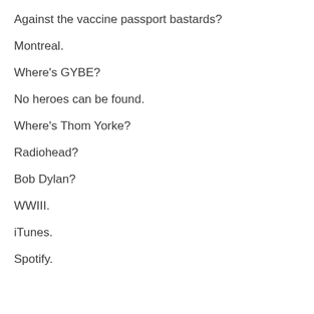Against the vaccine passport bastards?
Montreal.
Where's GYBE?
No heroes can be found.
Where's Thom Yorke?
Radiohead?
Bob Dylan?
WWIII.
iTunes.
Spotify.